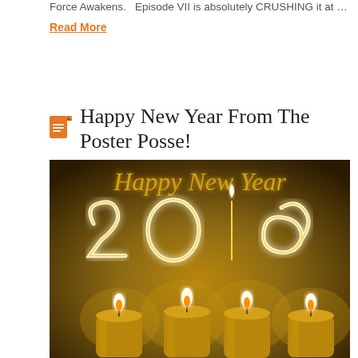Force Awakens.   Episode VII is absolutely CRUSHING it at …
Read More
Happy New Year From The Poster Posse!
[Figure (photo): Happy New Year 2016 image showing four glowing candles with flame light-painted digits '2016' above them on a dark golden background, with 'Happy New Year' written in golden cursive script at the top.]